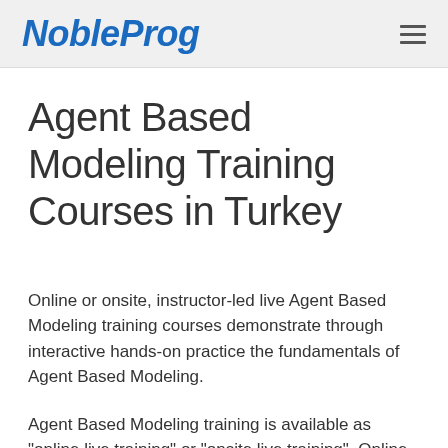NobleProg
Agent Based Modeling Training Courses in Turkey
Online or onsite, instructor-led live Agent Based Modeling training courses demonstrate through interactive hands-on practice the fundamentals of Agent Based Modeling.
Agent Based Modeling training is available as "online live training" or "onsite live training". Online live training (aka "remote live training") is carried out by way of an